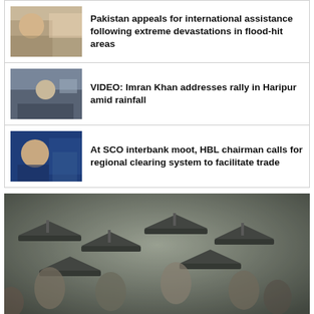[Figure (photo): News thumbnail: elderly man with flowers, flood devastation context]
Pakistan appeals for international assistance following extreme devastations in flood-hit areas
[Figure (photo): News thumbnail: Imran Khan at rally in Haripur amid rainfall, crowd with flags]
VIDEO: Imran Khan addresses rally in Haripur amid rainfall
[Figure (photo): News thumbnail: man with glasses in suit at SCO interbank moot]
At SCO interbank moot, HBL chairman calls for regional clearing system to facilitate trade
[Figure (photo): Large photo: graduation ceremony, many students wearing mortarboard caps]